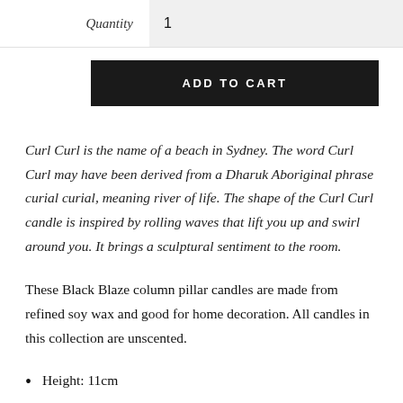Quantity  1
[Figure (other): ADD TO CART button, black rectangle with white uppercase text]
Curl Curl is the name of a beach in Sydney. The word Curl Curl may have been derived from a Dharuk Aboriginal phrase curial curial, meaning river of life. The shape of the Curl Curl candle is inspired by rolling waves that lift you up and swirl around you. It brings a sculptural sentiment to the room.
These Black Blaze column pillar candles are made from refined soy wax and good for home decoration. All candles in this collection are unscented.
Height: 11cm
Candle Width: 11.5cm